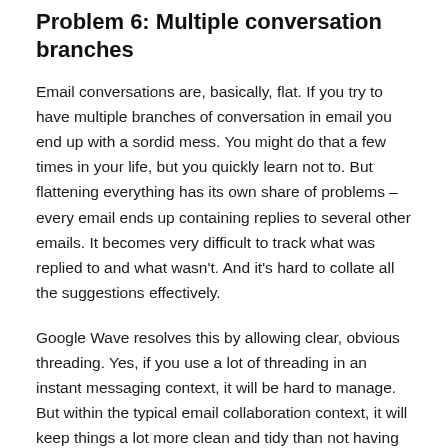Problem 6: Multiple conversation branches
Email conversations are, basically, flat. If you try to have multiple branches of conversation in email you end up with a sordid mess. You might do that a few times in your life, but you quickly learn not to. But flattening everything has its own share of problems – every email ends up containing replies to several other emails. It becomes very difficult to track what was replied to and what wasn't. And it's hard to collate all the suggestions effectively.
Google Wave resolves this by allowing clear, obvious threading. Yes, if you use a lot of threading in an instant messaging context, it will be hard to manage. But within the typical email collaboration context, it will keep things a lot more clean and tidy than not having threading.